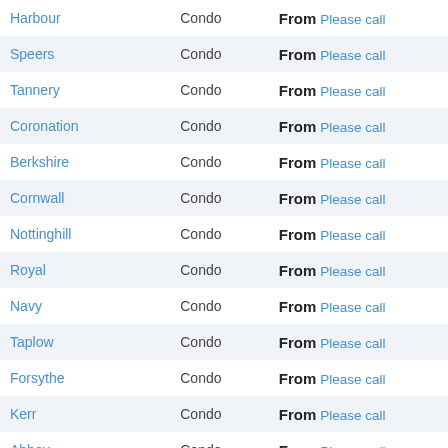| Name | Type | Price |
| --- | --- | --- |
| Harbour | Condo | From Please call |
| Speers | Condo | From Please call |
| Tannery | Condo | From Please call |
| Coronation | Condo | From Please call |
| Berkshire | Condo | From Please call |
| Cornwall | Condo | From Please call |
| Nottinghill | Condo | From Please call |
| Royal | Condo | From Please call |
| Navy | Condo | From Please call |
| Taplow | Condo | From Please call |
| Forsythe | Condo | From Please call |
| Kerr | Condo | From Please call |
| Abbey | Condo | From Please call |